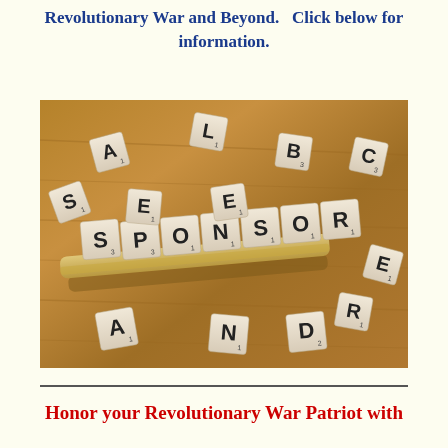Revolutionary War and Beyond.   Click below for information.
[Figure (photo): Scrabble tiles on a wooden surface spelling out SPONSOR on a tile rack, with scattered individual letter tiles (A, L, B, C, S, E, E, R, A, N, D) around it on a wooden board background.]
Honor your Revolutionary War Patriot with